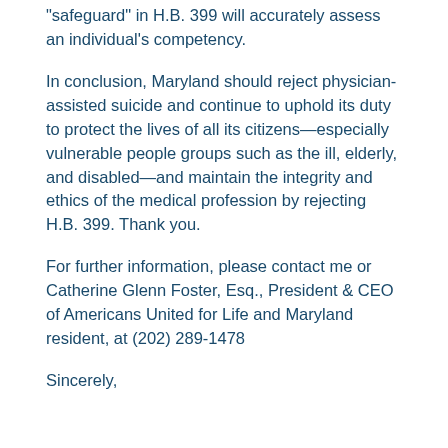“safeguard” in H.B. 399 will accurately assess an individual’s competency.
In conclusion, Maryland should reject physician-assisted suicide and continue to uphold its duty to protect the lives of all its citizens—especially vulnerable people groups such as the ill, elderly, and disabled—and maintain the integrity and ethics of the medical profession by rejecting H.B. 399. Thank you.
For further information, please contact me or Catherine Glenn Foster, Esq., President & CEO of Americans United for Life and Maryland resident, at (202) 289-1478
Sincerely,